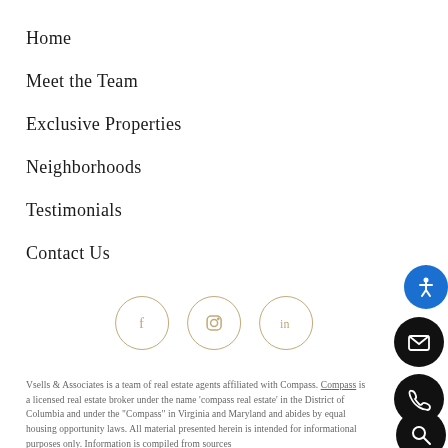Home
Meet the Team
Exclusive Properties
Neighborhoods
Testimonials
Contact Us
[Figure (illustration): Three circular social media icons with tan/gold border: Facebook (f), Instagram (camera), LinkedIn (in)]
Vsells & Associates is a team of real estate agents affiliated with Compass. Compass is a licensed real estate broker under the name 'compass real estate' in the District of Columbia and under the "Compass" in Virginia and Maryland and abides by equal housing opportunity laws. All material presented herein is intended for informational purposes only. Information is compiled from sources